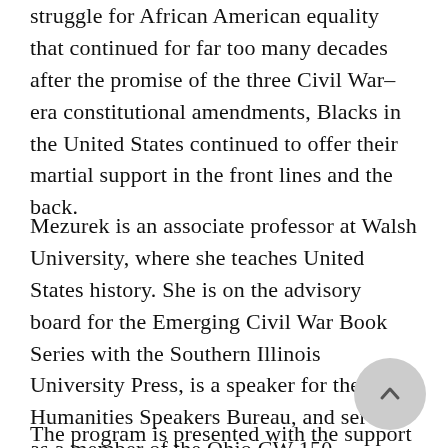struggle for African American equality that continued for far too many decades after the promise of the three Civil War–era constitutional amendments, Blacks in the United States continued to offer their martial support in the front lines and the back.
Mezurek is an associate professor at Walsh University, where she teaches United States history. She is on the advisory board for the Emerging Civil War Book Series with the Southern Illinois University Press, is a speaker for the Ohio Humanities Speakers Bureau, and served as a member of the Ohio CW 150 Advisory Committee.
The program is presented with the support of